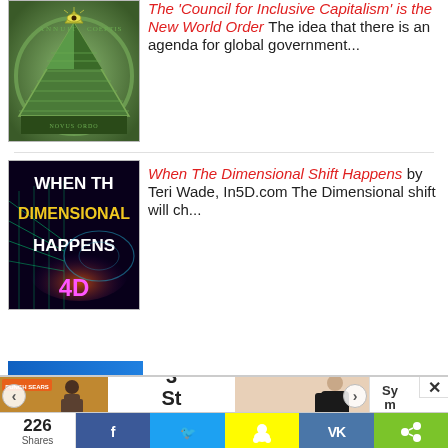[Figure (photo): Illuminati pyramid eye on US dollar bill, greenish tint]
The 'Council for Inclusive Capitalism' is the New World Order The idea that there is an agenda for global government...
[Figure (photo): Promotional image for 'When The Dimensional Shift Happens' with text overlay, 4D, dark cosmic background]
When The Dimensional Shift Happens by Teri Wade, In5D.com The Dimensional shift will ch...
[Figure (photo): Thumbnail images in promo carousel: man near slot machines, woman in black dress]
3 St ep
Sy m
226 Shares